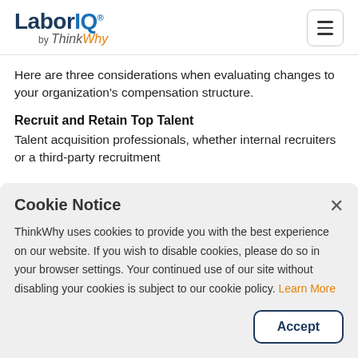LaborIQ® by ThinkWhy
Here are three considerations when evaluating changes to your organization's compensation structure.
Recruit and Retain Top Talent
Talent acquisition professionals, whether internal recruiters or a third-party recruitment
Cookie Notice
ThinkWhy uses cookies to provide you with the best experience on our website. If you wish to disable cookies, please do so in your browser settings. Your continued use of our site without disabling your cookies is subject to our cookie policy. Learn More
Accept